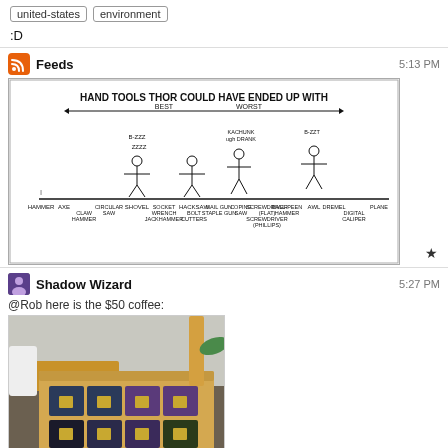united-states | environment
:D
Feeds   5:13 PM
[Figure (illustration): XKCD comic: HAND TOOLS THOR COULD HAVE ENDED UP WITH. Shows a spectrum from BEST to WORST with hand tools labeled along a horizontal line including HAMMER, AXE, CLAW HAMMER, CIRCULAR SAW, SHOVEL, SOCKET WRENCH, JACKHAMMER, HACKSAW, BOLT CUTTERS, NAIL GUN, STAPLE GUN, COPING SAW, SCREWDRIVER (FLAT), BALL-PEEN HAMMER, SCREWDRIVER (PHILLIPS), AWL, DREMEL, DIGITAL CALIPER, PLANE. Stick figures are shown reacting to various tools.]
Shadow Wizard   5:27 PM
@Rob here is the $50 coffee:
[Figure (photo): Photo of a cardboard box containing multiple small coffee pod boxes, some dark blue/black and some purple, on a dark table surface with kitchen items visible in background.]
How that 340g Cropat looks like? I saw only 200g containers.